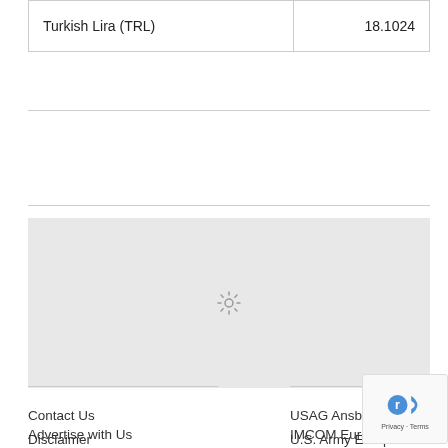| Currency | Rate |
| --- | --- |
| Turkish Lira (TRL) | 18.1024 |
[Figure (other): Loading spinner icon inside a light gray placeholder box, indicating content is loading]
Contact Us
Advertise with Us
Disclaimer
USAG Ansbach
IMCOM Europe
U.S. Army Europe